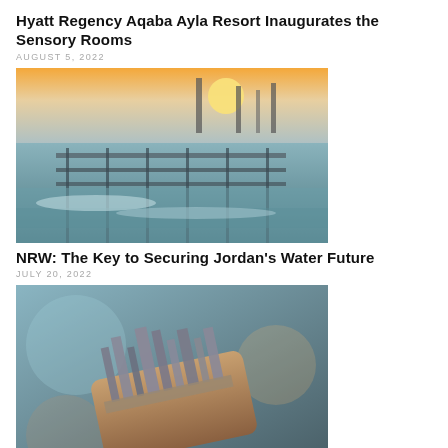Hyatt Regency Aqaba Ayla Resort Inaugurates the Sensory Rooms
AUGUST 5, 2022
[Figure (photo): Industrial water treatment facility with long rectangular settling tanks and metal bridge structures at sunset]
NRW: The Key to Securing Jordan's Water Future
JULY 20, 2022
[Figure (photo): Miniature city skyline model placed on top of a smartphone, blurred background]
Tech talent earn significantly higher salaries in